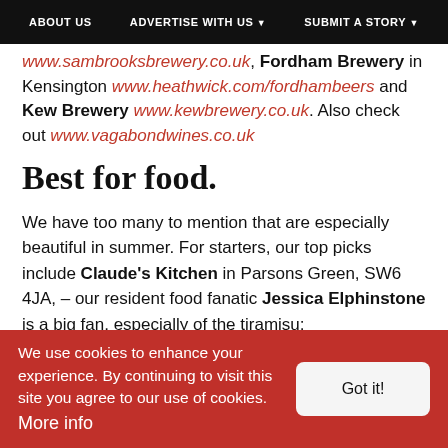ABOUT US | ADVERTISE WITH US ▼ | SUBMIT A STORY ▼
www.sambrooksbrewery.co.uk, Fordham Brewery in Kensington www.heathwick.com/fordhambeers and Kew Brewery www.kewbrewery.co.uk. Also check out www.vagabondwines.co.uk
Best for food.
We have too many to mention that are especially beautiful in summer. For starters, our top picks include Claude's Kitchen in Parsons Green, SW6 4JA, – our resident food fanatic Jessica Elphinstone is a big fan, especially of the tiramisu;
We use cookies to enhance your experience. By continuing to visit this site you agree to our use of cookies. More info